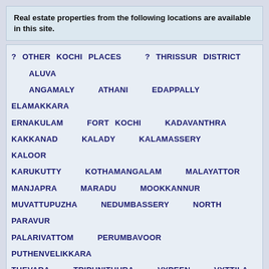Real estate properties from the following locations are available in this site.
? OTHER KOCHI PLACES   ? THRISSUR DISTRICT   ALUVA   ANGAMALY   ATHANI   EDAPPALLY   ELAMAKKARA   ERNAKULAM   FORT KOCHI   KADAVANTHRA   KAKKANAD   KALADY   KALAMASSERY   KALOOR   KARUKUTTY   KOTHAMANGALAM   MALAYATTOR   MANJAPRA   MARADU   MOOKKANNUR   MUVATTUPUZHA   NEDUMBASSERY   NORTH PARAVUR   PALARIVATTOM   PERUMBAVOOR   PUTHENVELIKKARA   THEVARA   TRIPUNITHURA   VYPEEN   VYTTILA
© kochi.co.in Since 2007. All rights reserved. Site powerd by eServices : realestateWWWDEVplug   Disclaimer   Privacy Policy   Payment Options   Contact Us   Hits: 121557378